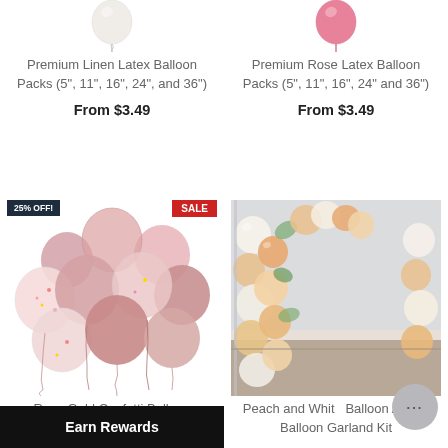[Figure (photo): White/linen latex balloon - top partially visible]
Premium Linen Latex Balloon Packs (5", 11", 16", 24", and 36")
From $3.49
[Figure (photo): Pink/rose latex balloon - top partially visible]
Premium Rose Latex Balloon Packs (5", 11", 16", 24" and 36")
From $3.49
[Figure (photo): Rose gold confetti balloon bouquet with 25% OFF and SALE badges]
Rose Gold Confetti Balloon Bouquet
[Figure (photo): Peach and white balloon arch - balloon garland kit]
Peach and White Balloon Arch – Balloon Garland Kit
Earn Rewards